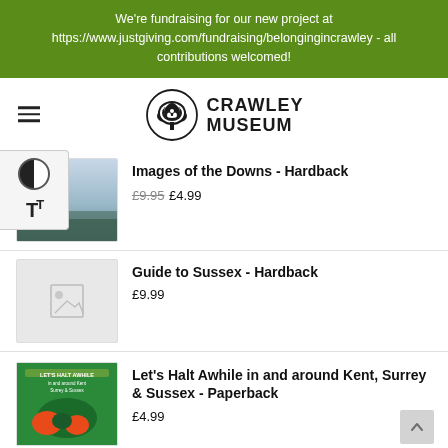We're fundraising for our new project at https://www.justgiving.com/fundraising/belongingincrawley - all contributions welcomed!
[Figure (logo): Crawley Museum logo: tree inside circle with text CRAWLEY MUSEUM]
Images of the Downs - Hardback
£9.95 £4.99
Guide to Sussex - Hardback
£9.99
Let's Halt Awhile in and around Kent, Surrey & Sussex - Paperback
£4.99